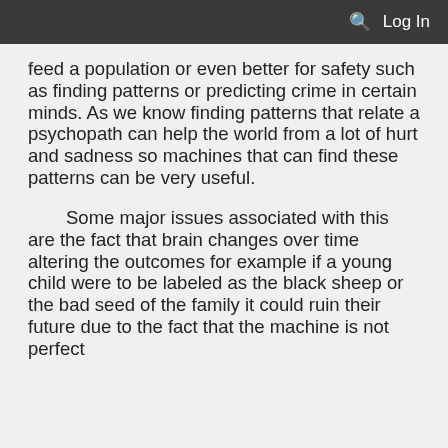Log In
feed a population or even better for safety such as finding patterns or predicting crime in certain minds. As we know finding patterns that relate a psychopath can help the world from a lot of hurt and sadness so machines that can find these patterns can be very useful.
	Some major issues associated with this are the fact that brain changes over time altering the outcomes for example if a young child were to be labeled as the black sheep or the bad seed of the family it could ruin their future due to the fact that the machine is not perfect